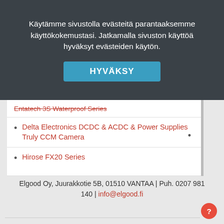Käytämme sivustolla evästeitä parantaaksemme käyttökokemustasi. Jatkamalla sivuston käyttöä hyväksyt evästeiden käytön.
HYVÄKSY
Entatech 3S Waterproof Series
Delta Electronics DCDC & ACDC & Power Supplies
Truly CCM Camera
Hirose FX20 Series
Elgood Oy, Juurakkotie 5B, 01510 VANTAA | Puh. 0207 981 140 | info@elgood.fi